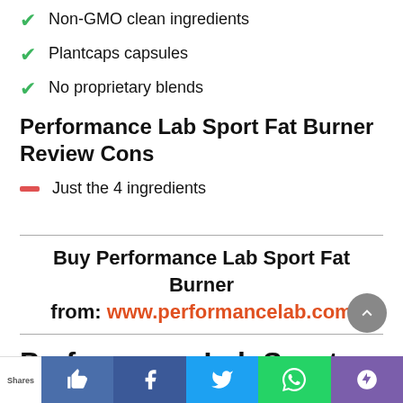Non-GMO clean ingredients
Plantcaps capsules
No proprietary blends
Performance Lab Sport Fat Burner Review Cons
Just the 4 ingredients
Buy Performance Lab Sport Fat Burner from: www.performancelab.com
Performance Lab Sport Fat Burner FAQs